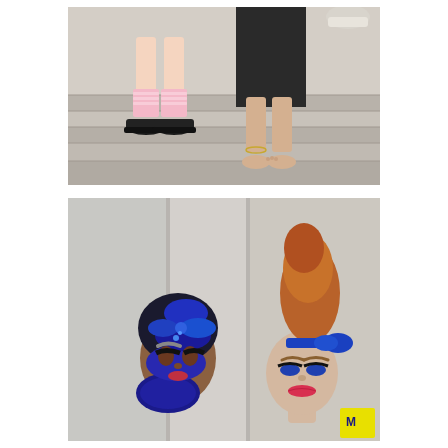[Figure (photo): Two people sitting on stone steps outdoors. One person wearing pink ruffle socks with black mary jane platform shoes, the other person barefoot with an anklet. Both wearing dark clothing, sitting on grey concrete steps.]
[Figure (photo): Two female models with elaborate avant-garde hairstyles. Left model has stacked royal blue hair buns piled high with blue satin bow accents, dark dramatic makeup with grey eyebrows and blue crystals. Right model has a tall auburn pompadour-style updo with royal blue satin ribbon, blue eye makeup with dramatic lashes and pink-red lips. Background is a light grey architectural wall/pillar.]